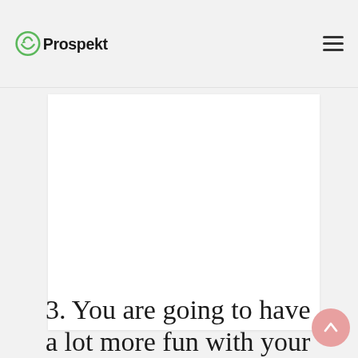Prospekt
[Figure (other): White content card / advertisement placeholder area]
3. You are going to have a lot more fun with your